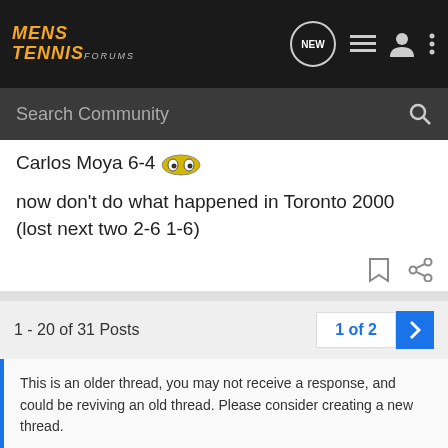MENS TENNIS FORUMS
Search Community
Carlos Moya 6-4 🙈
now don't do what happened in Toronto 2000 (lost next two 2-6 1-6)
1 - 20 of 31 Posts
1 of 2
This is an older thread, you may not receive a response, and could be reviving an old thread. Please consider creating a new thread.
Join the discussion